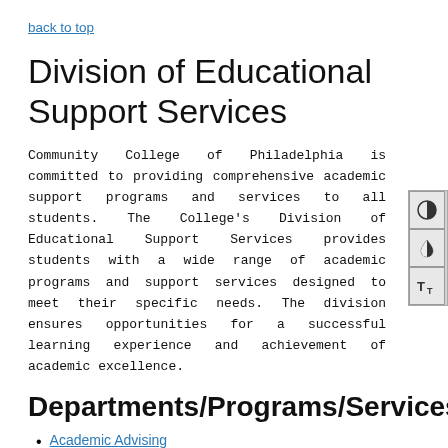back to top
Division of Educational Support Services
Community College of Philadelphia is committed to providing comprehensive academic support programs and services to all students. The College's Division of Educational Support Services provides students with a wide range of academic programs and support services designed to meet their specific needs. The division ensures opportunities for a successful learning experience and achievement of academic excellence.
Departments/Programs/Services
Academic Advising
Assessment Center
Center on Disability